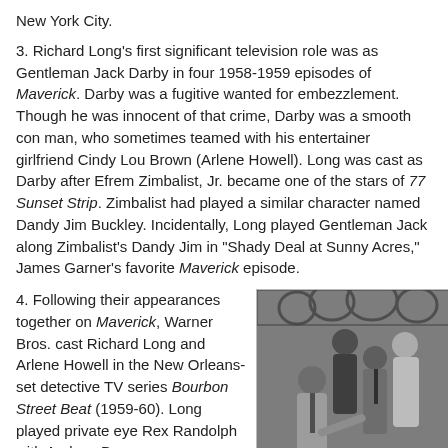New York City.
3. Richard Long's first significant television role was as Gentleman Jack Darby in four 1958-1959 episodes of Maverick. Darby was a fugitive wanted for embezzlement. Though he was innocent of that crime, Darby was a smooth con man, who sometimes teamed with his entertainer girlfriend Cindy Lou Brown (Arlene Howell). Long was cast as Darby after Efrem Zimbalist, Jr. became one of the stars of 77 Sunset Strip. Zimbalist had played a similar character named Dandy Jim Buckley. Incidentally, Long played Gentleman Jack along Zimbalist's Dandy Jim in "Shady Deal at Sunny Acres," James Garner's favorite Maverick episode.
4. Following their appearances together on Maverick, Warner Bros. cast Richard Long and Arlene Howell in the New Orleans-set detective TV series Bourbon Street Beat (1959-60). Long played private eye Rex Randolph with Andrew Duggan
[Figure (photo): Black and white photo showing several people, including men in suits and a woman, appearing to be from a 1950s or 1960s television production.]